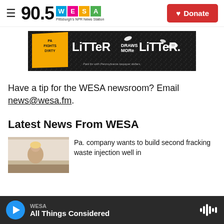90.5 WESA — Pittsburgh's NPR News Station | Donate
[Figure (photo): PA Fights Dirty advertisement banner: 'LITTER DRAWS MORE LITTER.' on dark background with litter imagery. Paid for with Pennsylvania taxpayer dollars.]
Have a tip for the WESA newsroom? Email news@wesa.fm.
Latest News From WESA
[Figure (photo): Thumbnail image of a person, associated with news article about Pa. company wants to build second fracking waste injection well in...]
Pa. company wants to build second fracking waste injection well in
WESA — All Things Considered (audio player bar)